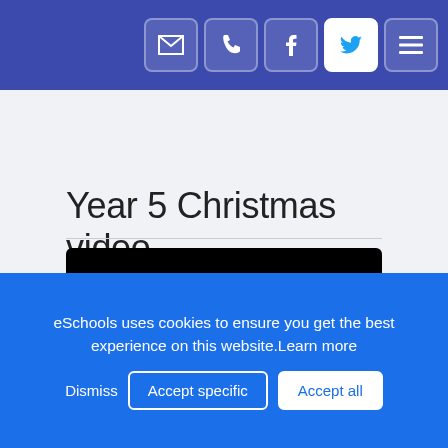[header bar with email, phone, facebook, twitter, menu icons]
Year 5 Christmas video
[Figure (screenshot): Black video player area]
eSchools uses cookies to ensure you get the best experience on this website. Learn more
Dismiss | Accept specific | Accept all